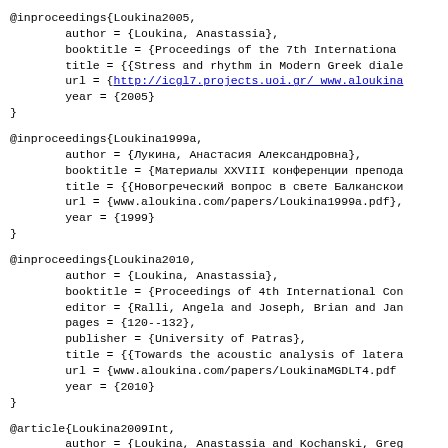@inproceedings{Loukina2005,
        author = {Loukina, Anastassia},
        booktitle = {Proceedings of the 7th International
        title = {{Stress and rhythm in Modern Greek diale
        url = {http://icgl7.projects.uoi.gr/ www.aloukina
        year = {2005}
}
@inproceedings{Loukina1999a,
        author = {Лукина, Анастасия Александровна},
        booktitle = {Материалы XXVIII конференции препода
        title = {{Новогреческий вопрос в свете Балканскои
        url = {www.aloukina.com/papers/Loukina1999a.pdf},
        year = {1999}
}
@inproceedings{Loukina2010,
        author = {Loukina, Anastassia},
        booktitle = {Proceedings of 4th International Con
        editor = {Ralli, Angela and Joseph, Brian and Ja
        pages = {120--132},
        publisher = {University of Patras},
        title = {{Towards the acoustic analysis of latera
        url = {www.aloukina.com/papers/LoukinaMGDLT4.pdf
        year = {2010}
}
@article{Loukina2009Int,
        author = {Loukina, Anastassia and Kochanski, Greg
        journal = {Proceedings of interspeech 2009 : spee